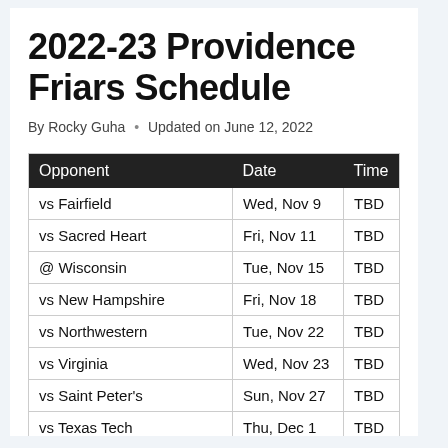2022-23 Providence Friars Schedule
By Rocky Guha • Updated on June 12, 2022
| Opponent | Date | Time |
| --- | --- | --- |
| vs Fairfield | Wed, Nov 9 | TBD |
| vs Sacred Heart | Fri, Nov 11 | TBD |
| @ Wisconsin | Tue, Nov 15 | TBD |
| vs New Hampshire | Fri, Nov 18 | TBD |
| vs Northwestern | Tue, Nov 22 | TBD |
| vs Virginia | Wed, Nov 23 | TBD |
| vs Saint Peter's | Sun, Nov 27 | TBD |
| vs Texas Tech | Thu, Dec 1 | TBD |
| vs Rhode Island | Sun, Dec 4 | TBD |
| vs Vermont | Wed, Dec 7 | TBD |
| vs Central Connecticut | Sun, Dec 11 | TBD |